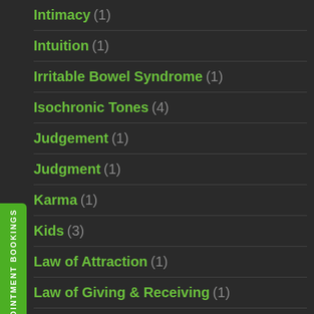Intimacy (1)
Intuition (1)
Irritable Bowel Syndrome (1)
Isochronic Tones (4)
Judgement (1)
Judgment (1)
Karma (1)
Kids (3)
Law of Attraction (1)
Law of Giving & Receiving (1)
Law of Karma or Cause and Effect (1)